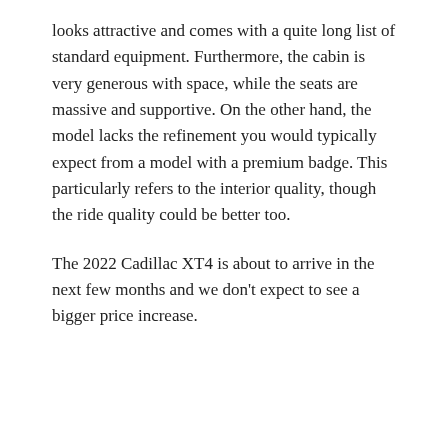looks attractive and comes with a quite long list of standard equipment. Furthermore, the cabin is very generous with space, while the seats are massive and supportive. On the other hand, the model lacks the refinement you would typically expect from a model with a premium badge. This particularly refers to the interior quality, though the ride quality could be better too.
The 2022 Cadillac XT4 is about to arrive in the next few months and we don't expect to see a bigger price increase.